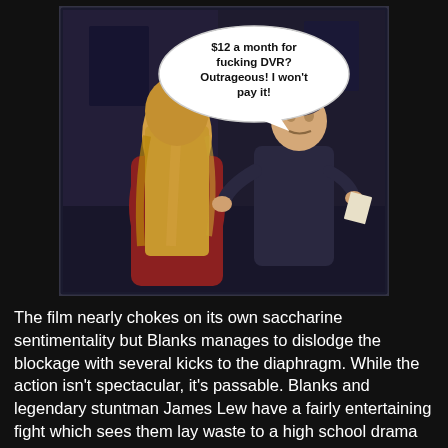[Figure (screenshot): A dark screenshot from a film or TV show showing two people in a dimly lit room. One person has long blonde hair wearing a red outfit (seen from behind), and another older person in dark clothes is gesturing. A speech bubble reads: '$12 a month for fucking DVR? Outrageous! I won't pay it!']
The film nearly chokes on its own saccharine sentimentality but Blanks manages to dislodge the blockage with several kicks to the diaphragm. While the action isn't spectacular, it's passable. Blanks and legendary stuntman James Lew have a fairly entertaining fight which sees them lay waste to a high school drama set. While they're few and far between, Kilpatrick's action scenes are scripted competently enough to mask his lack of martial-arts training. Instead, Kilpatrick goes the pro wrestling heel route with his character by playing to the crowd, gouging eyeballs, throwing opponents